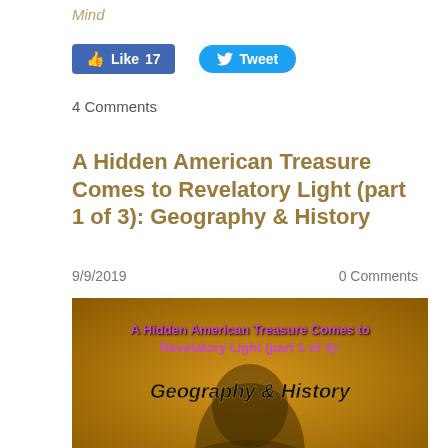Mind
[Figure (screenshot): Social media buttons: Facebook Like (17) and Twitter Tweet]
4 Comments
A Hidden American Treasure Comes to Revelatory Light (part 1 of 3): Geography & History
9/9/2019    0 Comments
[Figure (photo): Image with golden/sepia background showing a face silhouette with overlaid text: 'A Hidden American Treasure Comes to Revelatory Light (part 1 of 3):' in purple and 'Geography & History' in black bold]